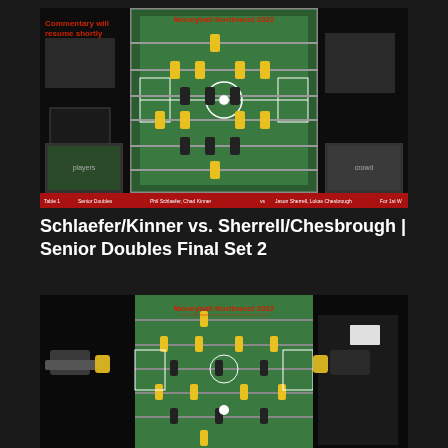[Figure (screenshot): Screenshot of a foosball/table soccer match stream from Moneyball Northwest 2022. Shows overhead view of the foosball table with yellow and black players, two inset camera views on the sides, red overlay text reading 'Commentary will resume shortly' and 'Moneyball Northwest 2022', and a red score bar at the bottom reading 'Table 1  Senior Doubles  Phil Schlaefer, Chad Kinner  vs  Jason Sherrell, Lukas Chesbrough  For 1st W'.]
Schlaefer/Kinner vs. Sherrell/Chesbrough | Senior Doubles Final Set 2
[Figure (screenshot): Screenshot of a foosball/table soccer match stream from Moneyball Northwest 2022. Shows close-up view of the foosball table with yellow players, players' hands gripping the rods on both sides, red text overlay reading 'Moneyball Northwest 2022' at the top center.]